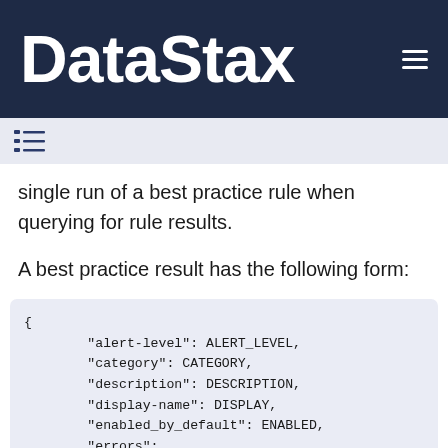DataStax
single run of a best practice rule when querying for rule results.
A best practice result has the following form:
{
        "alert-level": ALERT_LEVEL,
        "category": CATEGORY,
        "description": DESCRIPTION,
        "display-name": DISPLAY,
        "enabled_by_default": ENABLED,
        "errors":
            {
                "cluster-error": CLUSTER_